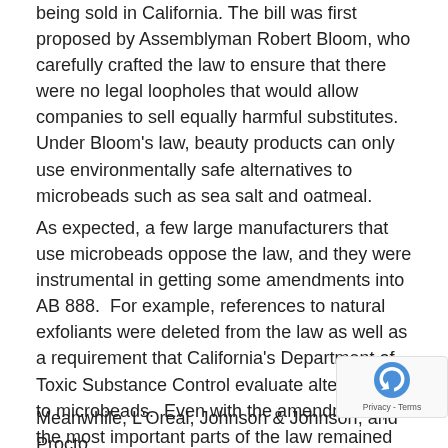being sold in California. The bill was first proposed by Assemblyman Robert Bloom, who carefully crafted the law to ensure that there were no legal loopholes that would allow companies to sell equally harmful substitutes. Under Bloom's law, beauty products can only use environmentally safe alternatives to microbeads such as sea salt and oatmeal.
As expected, a few large manufacturers that use microbeads oppose the law, and they were instrumental in getting some amendments into AB 888.  For example, references to natural exfoliants were deleted from the law as well as a requirement that California's Department of Toxic Substance Control evaluate alternatives to microbeads.  Even with the amendments, the most important parts of the law remained intact.  AB 888 effectively stops companies from using plastic in products that are washed down the drain. California's law will go into effect on January 1, 2020. Until then, the plastic microbeads will continue polluting oceans, rivers, and lakes.
Meanwhile, L'Oreal, Johnson & Johnson, and Proctor & Gamble have announced they are phasing out the use of